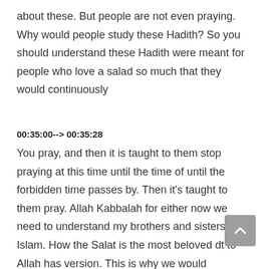about these. But people are not even praying. Why would people study these Hadith? So you should understand these Hadith were meant for people who love a salad so much that they would continuously
00:35:00--> 00:35:28
You pray, and then it is taught to them stop praying at this time until the time of until the forbidden time passes by. Then it's taught to them pray. Allah Kabbalah for either now we need to understand my brothers and sisters in Islam. How the Salat is the most beloved dt to Allah has version. This is why we would understand some of a seller for him Allah, they used to pray for your diet between Muslims and Asia.